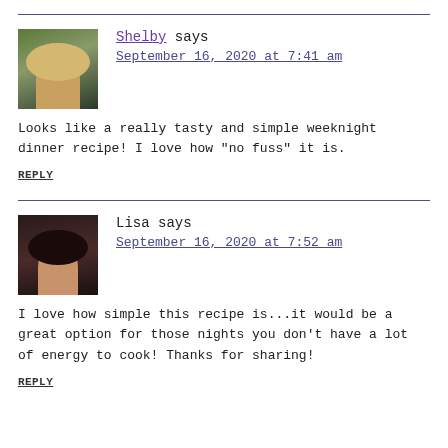Shelby says
September 16, 2020 at 7:41 am
Looks like a really tasty and simple weeknight dinner recipe! I love how "no fuss" it is.
REPLY
Lisa says
September 16, 2020 at 7:52 am
I love how simple this recipe is...it would be a great option for those nights you don't have a lot of energy to cook! Thanks for sharing!
REPLY